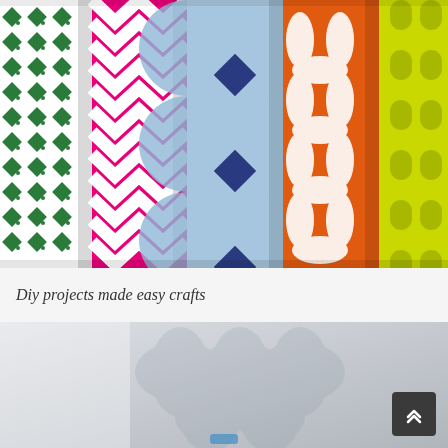[Figure (photo): Five colorful patterned fabric or wallpaper rolls standing upright side by side: green diamond/dot pattern, hot pink chevron zigzag, light blue geometric circle/diamond pattern, orange with white oval shapes, and yellow-green moroccan/lattice pattern.]
Diy projects made easy crafts
[Figure (photo): Bottom portion showing a light gray/silver background with a faint moroccan/quatrefoil pattern watermark and a small blue element at the bottom center.]